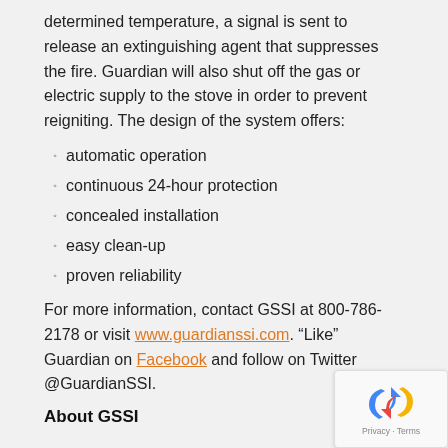determined temperature, a signal is sent to release an extinguishing agent that suppresses the fire. Guardian will also shut off the gas or electric supply to the stove in order to prevent reigniting. The design of the system offers:
automatic operation
continuous 24-hour protection
concealed installation
easy clean-up
proven reliability
For more information, contact GSSI at 800-786-2178 or visit www.guardianssi.com. “Like” Guardian on Facebook and follow on Twitter @GuardianSSI.
About GSSI